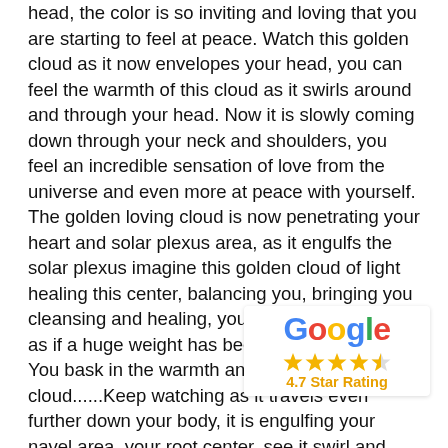head, the color is so inviting and loving that you are starting to feel at peace. Watch this golden cloud as it now envelopes your head, you can feel the warmth of this cloud as it swirls around and through your head. Now it is slowly coming down through your neck and shoulders, you feel an incredible sensation of love from the universe and even more at peace with yourself. The golden loving cloud is now penetrating your heart and solar plexus area, as it engulfs the solar plexus imagine this golden cloud of light healing this center, balancing you, bringing you cleansing and healing, you feel a sense of relief as if a huge weight has been lifted off of you. You bask in the warmth and love of this cloud......Keep watching as it travels even further down your body, it is engulfing your navel area, your root center, see it swirl and float around and through this area, you now feel like you too are floating in a sea of beautiful golden light, how could something feel so good? Now watch the golden cloud as it splits and goes down each thigh, you feel a... and knees that was not there before. This w... of pure love has engulfed your entire being...
[Figure (logo): Google logo with 4.7 star rating badge]